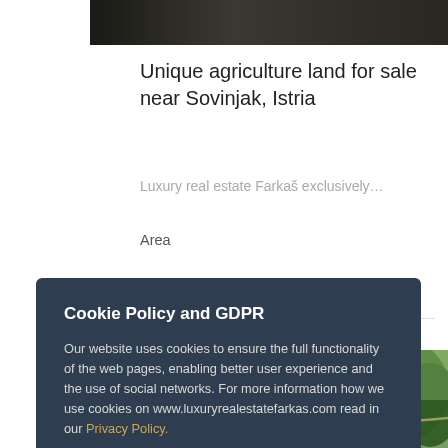[Figure (photo): Dark aerial/landscape photo strip at top of page]
Unique agriculture land for sale near Sovinjak, Istria
Luxury real estate Farkaš exclusively…
Area
[Figure (photo): Aerial photo of village with houses and green landscape in Istria]
Cookie Policy and GDPR
Our website uses cookies to ensure the full functionality of the web pages, enabling better user experience and the use of social networks. For more information how we use cookies on www.luxuryrealestatefarkas.com read in our Privacy Policy.
I understand.